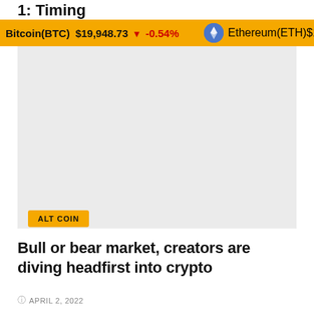1: Timing
Bitcoin(BTC) $19,948.73 ▼ -0.54%  Ethereum(ETH) $1,568.31 ▼ -
[Figure (photo): Gray placeholder image area for article thumbnail]
ALT COIN
Bull or bear market, creators are diving headfirst into crypto
APRIL 2, 2022